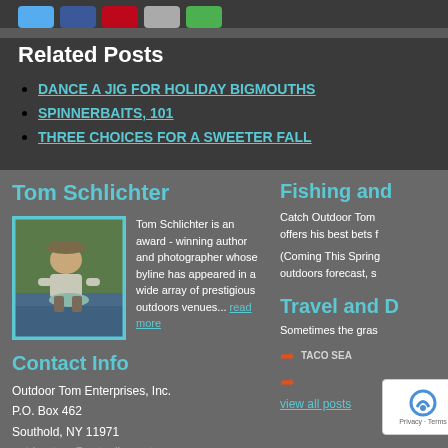[Figure (other): Row of social media share buttons: Twitter (blue), Facebook (dark blue), Pinterest (red), grey button, green button]
Related Posts
DANCE A JIG FOR HOLIDAY BIGMOUTHS
SPINNERBAITS, 101
THREE CHOICES FOR A SWEETER FALL
Tom Schlichter
[Figure (photo): Photo of Tom Schlichter kneeling by a river holding a fish, wearing a hat]
Tom Schlichter is an award - winning author and photographer whose byline has appeared in a wide array of prestigious outdoors venues... read more
Contact Info
Outdoor Tom Enterprises, Inc.
P.O. Box 462
Southold, NY 11971
outdoortom@optonline.net
Fishing and
Catch Outdoor Tom offers his best bets f
(Coming This Spring outdoors forecast, s
Travel and D
Sometimes the gras
TACO SEA
view all posts